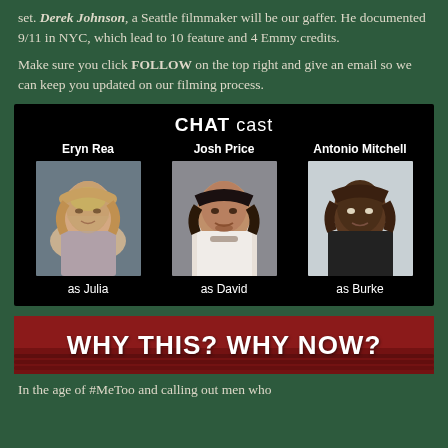set. Derek Johnson, a Seattle filmmaker will be our gaffer. He documented 9/11 in NYC, which lead to 10 feature and 4 Emmy credits.
Make sure you click FOLLOW on the top right and give an email so we can keep you updated on our filming process.
[Figure (infographic): CHAT cast infographic on black background showing three cast members: Eryn Rea as Julia, Josh Price as David, Antonio Mitchell as Burke, each with headshot photo and name/role labels.]
[Figure (infographic): WHY THIS? WHY NOW? title image with bold white text over dark red theater seats background.]
In the age of #MeToo and calling out men who